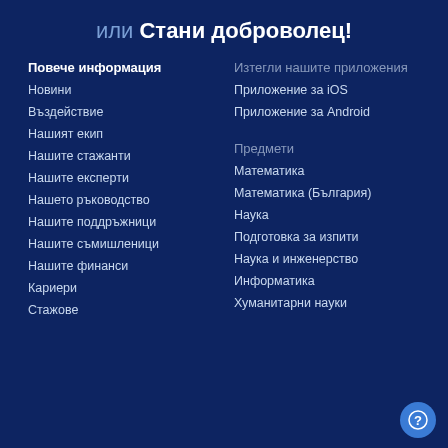или Стани доброволец!
Повече информация
Новини
Въздействие
Нашият екип
Нашите стажанти
Нашите експерти
Нашето ръководство
Нашите поддръжници
Нашите съмишленици
Нашите финанси
Кариери
Стажове
Изтегли нашите приложения
Приложение за iOS
Приложение за Android
Предмети
Математика
Математика (България)
Наука
Подготовка за изпити
Наука и инженерство
Информатика
Хуманитарни науки